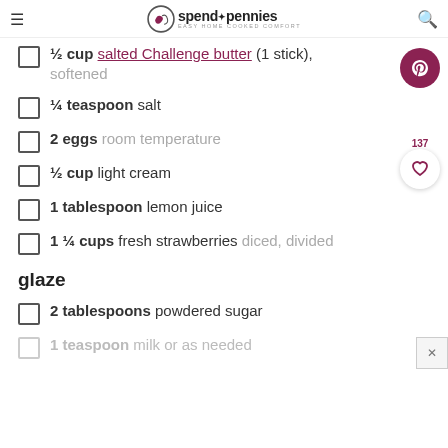spend with pennies – Easy Home Cooked Comfort
½ cup salted Challenge butter (1 stick), softened
¼ teaspoon salt
2 eggs room temperature
½ cup light cream
1 tablespoon lemon juice
1 ¼ cups fresh strawberries diced, divided
glaze
2 tablespoons powdered sugar
1 teaspoon milk or as needed